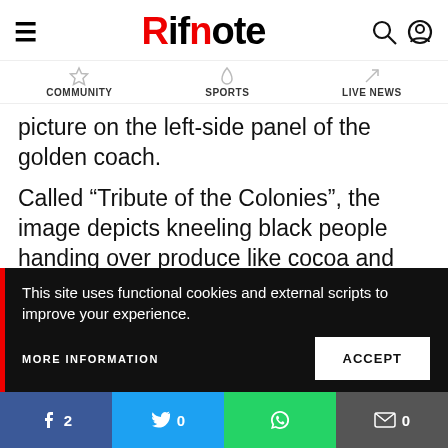Rifnote
COMMUNITY   SPORTS   LIVE NEWS
picture on the left-side panel of the golden coach.
Called “Tribute of the Colonies”, the image depicts kneeling black people handing over produce like cocoa and sugarcane to their white masters – including to a young white woman on a throne representing the
This site uses functional cookies and external scripts to improve your experience.
MORE INFORMATION   ACCEPT